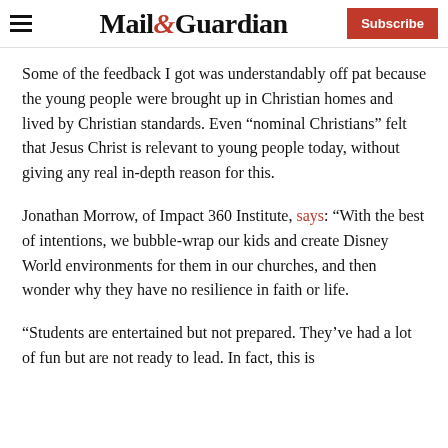Mail&Guardian | Subscribe
Some of the feedback I got was understandably off pat because the young people were brought up in Christian homes and lived by Christian standards. Even “nominal Christians” felt that Jesus Christ is relevant to young people today, without giving any real in-depth reason for this.
Jonathan Morrow, of Impact 360 Institute, says: “With the best of intentions, we bubble-wrap our kids and create Disney World environments for them in our churches, and then wonder why they have no resilience in faith or life.
“Students are entertained but not prepared. They’ve had a lot of fun but are not ready to lead. In fact, this is